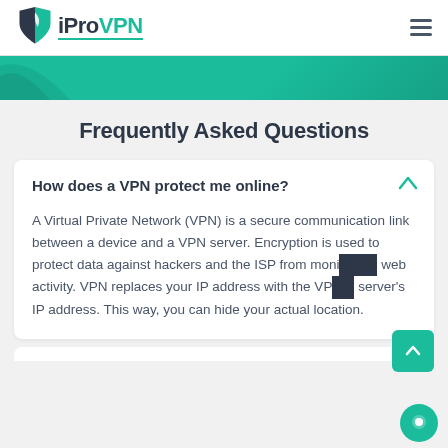iProVPN — navigation header with logo and hamburger menu
Frequently Asked Questions
How does a VPN protect me online?
A Virtual Private Network (VPN) is a secure communication link between a device and a VPN server. Encryption is used to protect data against hackers and the ISP from monitoring web activity. VPN replaces your IP address with the VPN server's IP address. This way, you can hide your actual location.